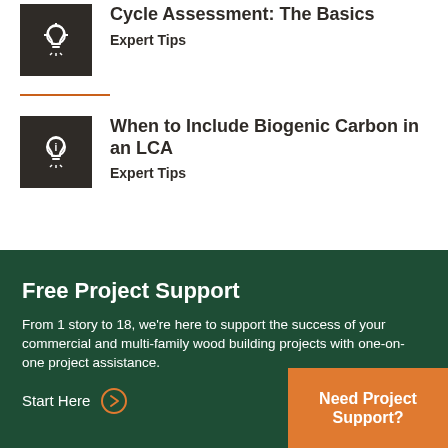[Figure (illustration): Dark square icon with a lightbulb symbol]
Cycle Assessment: The Basics
Expert Tips
[Figure (illustration): Dark square icon with a lightbulb/info symbol]
When to Include Biogenic Carbon in an LCA
Expert Tips
Free Project Support
From 1 story to 18, we're here to support the success of your commercial and multi-family wood building projects with one-on-one project assistance.
Start Here
Need Project Support?